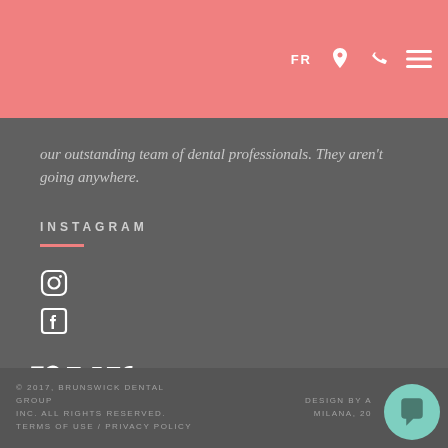FR [location icon] [phone icon] [hamburger menu icon]
our outstanding team of dental professionals. They aren't going anywhere.
INSTAGRAM
[Figure (logo): pur. dental logo with coral/salmon colored dot and smile arc, white italic serif text on dark grey background]
© 2017, BRUNSWICK DENTAL GROUP INC. ALL RIGHTS RESERVED. TERMS OF USE / PRIVACY POLICY
DESIGN BY A MILANA, 20